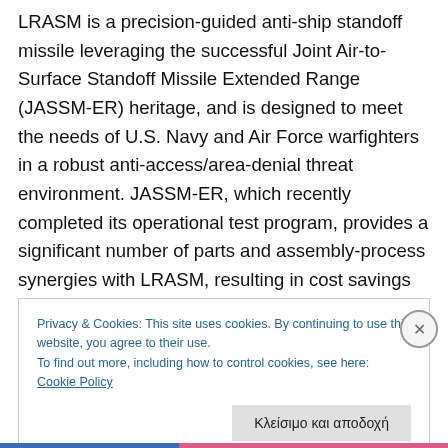LRASM is a precision-guided anti-ship standoff missile leveraging the successful Joint Air-to-Surface Standoff Missile Extended Range (JASSM-ER) heritage, and is designed to meet the needs of U.S. Navy and Air Force warfighters in a robust anti-access/area-denial threat environment. JASSM-ER, which recently completed its operational test program, provides a significant number of parts and assembly-process synergies with LRASM, resulting in cost savings for the U.S. Navy and Air Force Offensive Anti-Surface Warfare programs.
Privacy & Cookies: This site uses cookies. By continuing to use this website, you agree to their use.
To find out more, including how to control cookies, see here: Cookie Policy
Κλείσιμο και αποδοχή